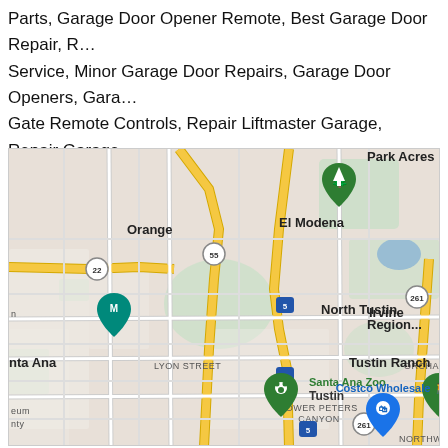Parts, Garage Door Opener Remote, Best Garage Door Repair, R... Service, Minor Garage Door Repairs, Garage Door Openers, Gara... Gate Remote Controls, Repair Liftmaster Garage, Repair Garage... Springs, Electric Gates, Torsion Springs For Garage Door, Tambo... more.
[Figure (map): Google Maps showing Orange, El Modena, North Tustin, Santa Ana, Tustin, Santa Ana Zoo, Tustin Ranch, Costco Wholesale areas with major roads including highways 55, 22, 261, and Interstate 5.]